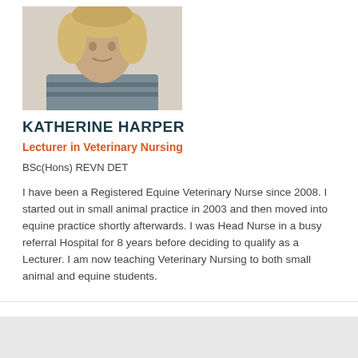[Figure (photo): Headshot photo of Katherine Harper, a woman with curly blonde hair]
KATHERINE HARPER
Lecturer in Veterinary Nursing
BSc(Hons) REVN DET
I have been a Registered Equine Veterinary Nurse since 2008. I started out in small animal practice in 2003 and then moved into equine practice shortly afterwards. I was Head Nurse in a busy referral Hospital for 8 years before deciding to qualify as a Lecturer. I am now teaching Veterinary Nursing to both small animal and equine students.